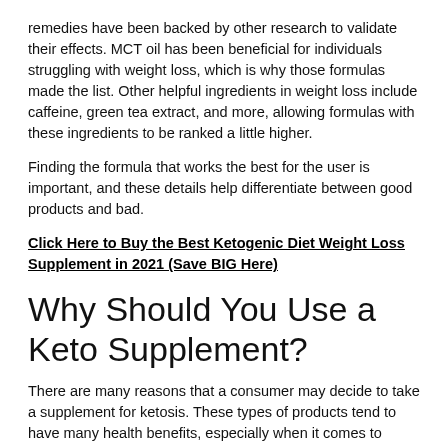remedies have been backed by other research to validate their effects. MCT oil has been beneficial for individuals struggling with weight loss, which is why those formulas made the list. Other helpful ingredients in weight loss include caffeine, green tea extract, and more, allowing formulas with these ingredients to be ranked a little higher.
Finding the formula that works the best for the user is important, and these details help differentiate between good products and bad.
Click Here to Buy the Best Ketogenic Diet Weight Loss Supplement in 2021 (Save BIG Here)
Why Should You Use a Keto Supplement?
There are many reasons that a consumer may decide to take a supplement for ketosis. These types of products tend to have many health benefits, especially when it comes to entering into ketosis at a rapid pace. With diet alone, entering a ketogenic state can take weeks, which is part of the reason so many people quit. The fatigue that can come with a gradual transition from carbohydrates to fat can take a major toll on the body, and it is so common that